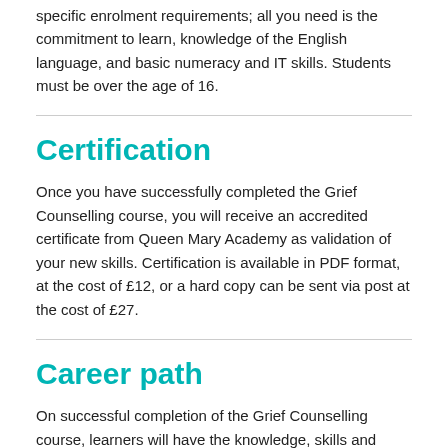specific enrolment requirements; all you need is the commitment to learn, knowledge of the English language, and basic numeracy and IT skills. Students must be over the age of 16.
Certification
Once you have successfully completed the Grief Counselling course, you will receive an accredited certificate from Queen Mary Academy as validation of your new skills. Certification is available in PDF format, at the cost of £12, or a hard copy can be sent via post at the cost of £27.
Career path
On successful completion of the Grief Counselling course, learners will have the knowledge, skills and credentials to enter the relevant job market, with the confidence to explore a wide range of industry-related professions. Students will be able to add this qualification to their CV/resume, giving them a head start in their chosen field.